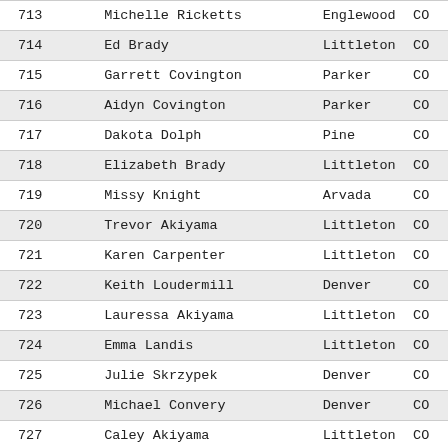| # | Name | City | State |
| --- | --- | --- | --- |
| 713 | Michelle Ricketts | Englewood | CO |
| 714 | Ed Brady | Littleton | CO |
| 715 | Garrett Covington | Parker | CO |
| 716 | Aidyn Covington | Parker | CO |
| 717 | Dakota Dolph | Pine | CO |
| 718 | Elizabeth Brady | Littleton | CO |
| 719 | Missy Knight | Arvada | CO |
| 720 | Trevor Akiyama | Littleton | CO |
| 721 | Karen Carpenter | Littleton | CO |
| 722 | Keith Loudermill | Denver | CO |
| 723 | Lauressa Akiyama | Littleton | CO |
| 724 | Emma Landis | Littleton | CO |
| 725 | Julie Skrzypek | Denver | CO |
| 726 | Michael Convery | Denver | CO |
| 727 | Caley Akiyama | Littleton | CO |
| 728 | Glenn Spagnuolo | Littleton | CO |
| 729 | Leslie Paffe | Denver | CO |
| 730 | Elizabeth McGuire | Denver | CO |
| 731 | Maria Pinedo | Littleton | CO |